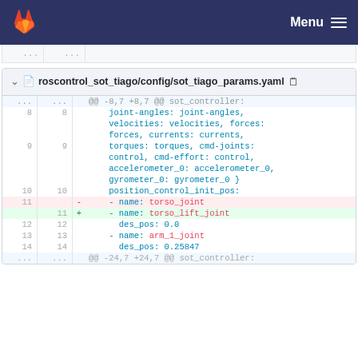Menu
roscontrol_sot_tiago/config/sot_tiago_params.yaml
| old | new | sign | code |
| --- | --- | --- | --- |
| ... | ... |  | @@ -8,7 +8,7 @@ sot_controller: |
| 8 | 8 |  |     joint-angles: joint-angles, velocities: velocities, forces: forces, currents: currents, |
| 9 | 9 |  |     torques: torques, cmd-joints: control, cmd-effort: control, accelerometer_0: accelerometer_0, gyrometer_0: gyrometer_0 } |
| 10 | 10 |  |     position_control_init_pos: |
| 11 |  | - |     - name: torso_joint |
|  | 11 | + |     - name: torso_lift_joint |
| 12 | 12 |  |       des_pos: 0.0 |
| 13 | 13 |  |     - name: arm_1_joint |
| 14 | 14 |  |       des_pos: 0.25847 |
| ... | ... |  | @@ -24,7 +24,7 @@ sot_controller: |